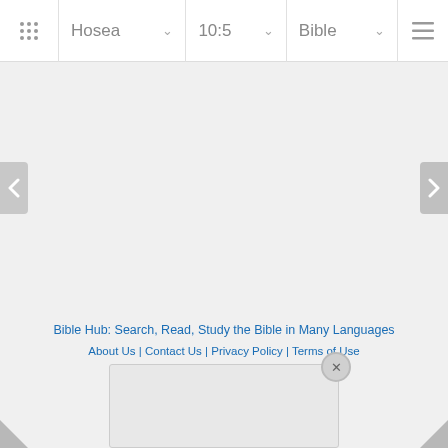Hosea | 10:5 | Bible
Bible Hub: Search, Read, Study the Bible in Many Languages
About Us | Contact Us | Privacy Policy | Terms of Use